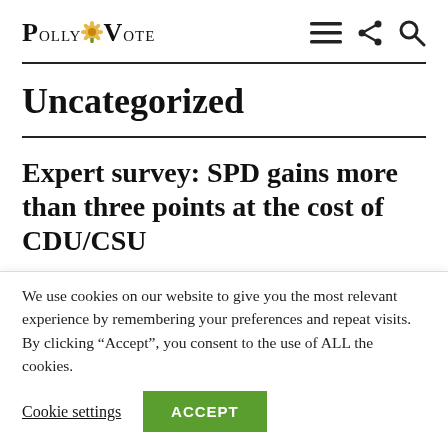PollyVote
Uncategorized
Expert survey: SPD gains more than three points at the cost of CDU/CSU
We use cookies on our website to give you the most relevant experience by remembering your preferences and repeat visits. By clicking “Accept”, you consent to the use of ALL the cookies.
Cookie settings  ACCEPT